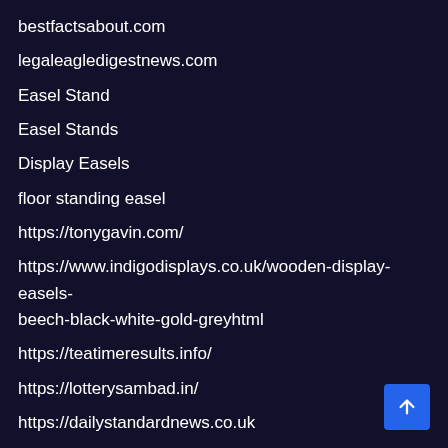bestfactsabout.com
legaleagledigestnews.com
Easel Stand
Easel Stands
Display Easels
floor standing easel
https://tonygavin.com/
https://www.indigodisplays.co.uk/wooden-display-easels-beech-black-white-gold-greyhtml
https://teatimeresults.info/
https://lotterysambad.in/
https://dailystandardnews.co.uk
https://www.extensivemedia.net/
https://qr.net/
https://refugeacupuncture.com/